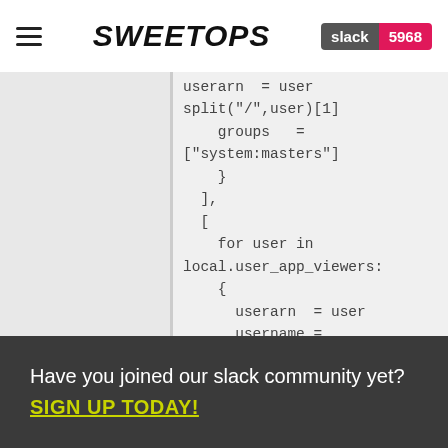SweetOps | slack 5968
[Figure (screenshot): Code block showing Terraform/HCL configuration with userarn, username, groups assignments and for-loops over local.user_app_viewers]
Have you joined our slack community yet? SIGN UP TODAY!